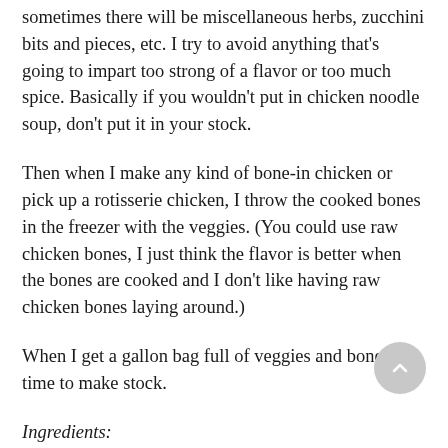sometimes there will be miscellaneous herbs, zucchini bits and pieces, etc. I try to avoid anything that's going to impart too strong of a flavor or too much spice. Basically if you wouldn't put in chicken noodle soup, don't put it in your stock.
Then when I make any kind of bone-in chicken or pick up a rotisserie chicken, I throw the cooked bones in the freezer with the veggies. (You could use raw chicken bones, I just think the flavor is better when the bones are cooked and I don't like having raw chicken bones laying around.)
When I get a gallon bag full of veggies and bones, it's time to make stock.
Ingredients:
One gallon bag filled with veggie scraps and chicken